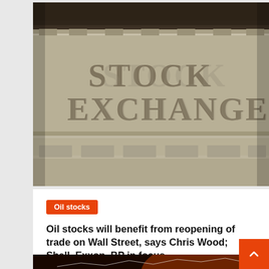[Figure (photo): Stock Exchange building facade with carved 'STOCK EXCHANGE' lettering in stone, architectural photo in sepia/grayscale tones]
Oil stocks
Oil stocks will benefit from reopening of trade on Wall Street, says Chris Wood; Shell, Exxon, BP in focus
Felix J. Dixon   June 2, 2021
[Figure (photo): Financial market graphic with glowing stock chart lines and 3D red arrow shapes on dark background]